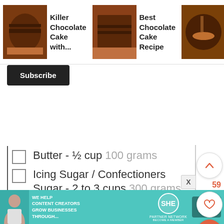[Figure (screenshot): Top recommended recipes bar with thumbnail images: Killer Chocolate Cake with..., Best Chocolate Cake Recipe, Chocolate Icing Recip...]
Butter - ½ cup 100 grams
Icing Sugar / Confectioners Sugar - 2 to 3 cups 300 grams
Cocc
Vanil
Milk
Basic Ch
Unsalted Butter- 1 cup softened
Confectioners Sugar / Icing Sugar - 4
[Figure (screenshot): SHE Partner Network advertisement banner: We help content creators grow businesses through...]